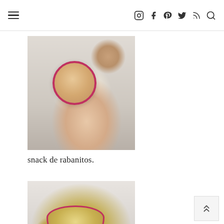Navigation bar with hamburger menu and social icons: Instagram, Facebook, Pinterest, Twitter, RSS, Search
[Figure (photo): Close-up photo of a hand holding a hollowed radish filled with a creamy beige dip/sauce, with a glass jar of dip and spoon in the background, on a white marble surface]
snack de rabanitos.
[Figure (photo): Photo of a white bowl with red rim containing a yellow-green grain dish (possibly rice or wheat with herbs/spices), a gold spoon beside it on a grey cloth, on a marble surface]